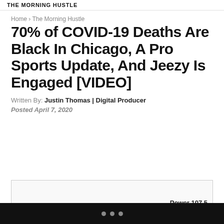THE MORNING HUSTLE
Home › The Morning Hustle
70% of COVID-19 Deaths Are Black In Chicago, A Pro Sports Update, And Jeezy Is Engaged [VIDEO]
Written By: Justin Thomas | Digital Producer
Posted April 7, 2020
[Figure (other): Embedded video or media box with Power 107.5 watermark]
• • •